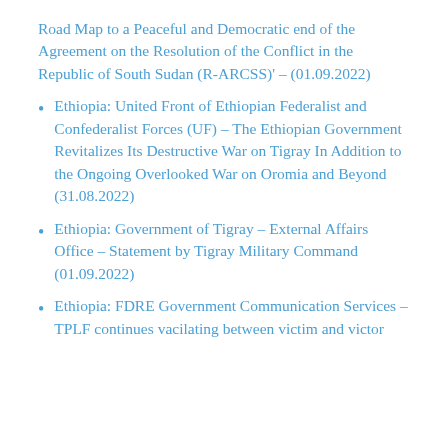Road Map to a Peaceful and Democratic end of the Agreement on the Resolution of the Conflict in the Republic of South Sudan (R-ARCSS)' – (01.09.2022)
Ethiopia: United Front of Ethiopian Federalist and Confederalist Forces (UF) – The Ethiopian Government Revitalizes Its Destructive War on Tigray In Addition to the Ongoing Overlooked War on Oromia and Beyond (31.08.2022)
Ethiopia: Government of Tigray – External Affairs Office – Statement by Tigray Military Command (01.09.2022)
Ethiopia: FDRE Government Communication Services – TPLF continues vacilating between victim and victor